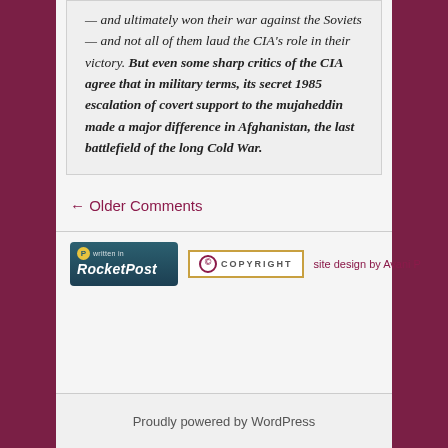— and ultimately won their war against the Soviets — and not all of them laud the CIA's role in their victory. But even some sharp critics of the CIA agree that in military terms, its secret 1985 escalation of covert support to the mujaheddin made a major difference in Afghanistan, the last battlefield of the long Cold War.
← Older Comments
[Figure (logo): Written in RocketPost badge - dark teal background with yellow circle P logo]
[Figure (logo): Copyright badge with golden border, copyright circle symbol and COPYRIGHT text]
site design by Avani P
Proudly powered by WordPress